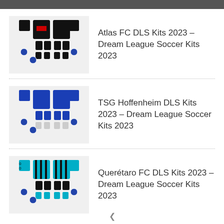Atlas FC DLS Kits 2023 – Dream League Soccer Kits 2023
TSG Hoffenheim DLS Kits 2023 – Dream League Soccer Kits 2023
Querétaro FC DLS Kits 2023 – Dream League Soccer Kits 2023